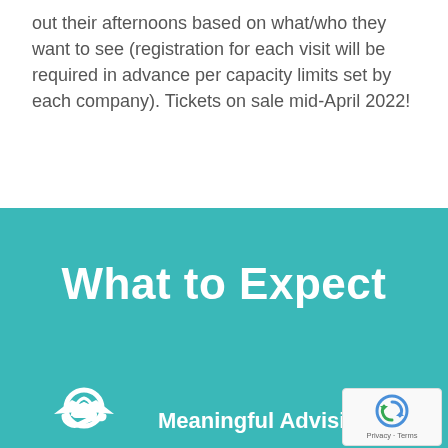out their afternoons based on what/who they want to see (registration for each visit will be required in advance per capacity limits set by each company). Tickets on sale mid-April 2022!
What to Expect
[Figure (illustration): White handshake icon on teal background with 'Meaningful Advising' text label below, partially visible at bottom of page. reCAPTCHA badge visible in bottom right corner.]